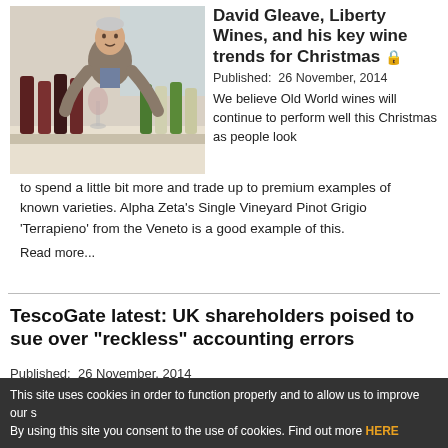[Figure (photo): Man in blazer standing behind a table lined with wine bottles, holding a wine glass]
David Gleave, Liberty Wines, and his key wine trends for Christmas 🔒
Published:  26 November, 2014
We believe Old World wines will continue to perform well this Christmas as people look to spend a little bit more and trade up to premium examples of known varieties. Alpha Zeta's Single Vineyard Pinot Grigio 'Terrapieno' from the Veneto is a good example of this.
Read more...
TescoGate latest: UK shareholders poised to sue over "reckless" accounting errors
Published:  26 November, 2014
A UK law firm is preparing legal action on behalf of Tesco shareholders that will allege directors and senior managers "know or were reckless" over the retailer's "untrue of
This site uses cookies in order to function properly and to allow us to improve our s By using this site you consent to the use of cookies. Find out more HERE